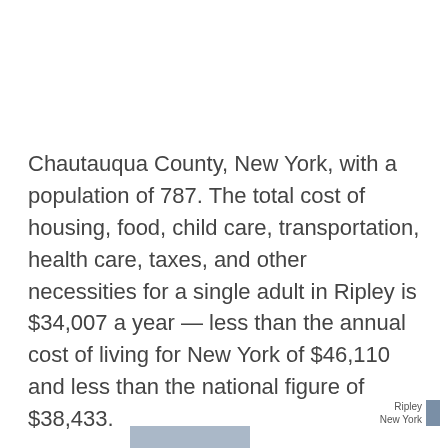Chautauqua County, New York, with a population of 787. The total cost of housing, food, child care, transportation, health care, taxes, and other necessities for a single adult in Ripley is $34,007 a year — less than the annual cost of living for New York of $46,110 and less than the national figure of $38,433.
Ripley
New York